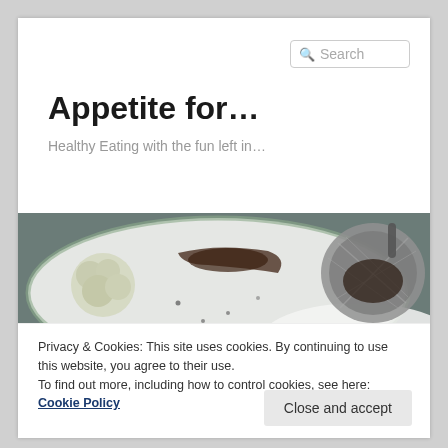Search
Appetite for…
Healthy Eating with the fun left in…
[Figure (photo): Close-up photo of a white plate with food remnants including cauliflower and what appears to be a chocolate crumble, with a metal tea strainer on the right side, on a white surface]
Privacy & Cookies: This site uses cookies. By continuing to use this website, you agree to their use.
To find out more, including how to control cookies, see here: Cookie Policy
Close and accept